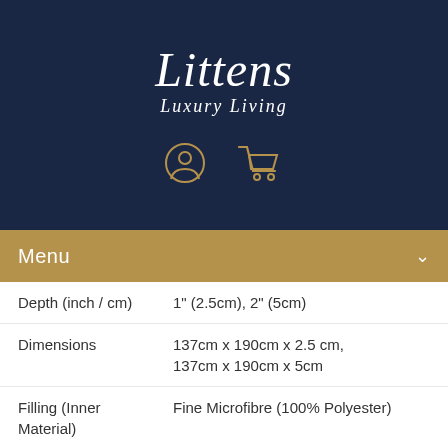[Figure (logo): Littens Luxury Living logo in white italic script on dark navy background]
Menu
| Property | Value |
| --- | --- |
| Depth (inch / cm) | 1" (2.5cm), 2" (5cm) |
| Dimensions | 137cm x 190cm x 2.5 cm, 137cm x 190cm x 5cm |
| Filling (Inner Material) | Fine Microfibre (100% Polyester) |
| Firmness | Soft |
| Includes | Mattress Topper |